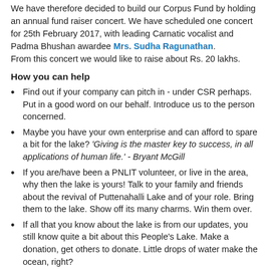We have therefore decided to build our Corpus Fund by holding an annual fund raiser concert. We have scheduled one concert for 25th February 2017, with leading Carnatic vocalist and Padma Bhushan awardee Mrs. Sudha Ragunathan.
From this concert we would like to raise about Rs. 20 lakhs.
How you can help
Find out if your company can pitch in - under CSR perhaps. Put in a good word on our behalf. Introduce us to the person concerned.
Maybe you have your own enterprise and can afford to spare a bit for the lake? ‘Giving is the master key to success, in all applications of human life.’ - Bryant McGill
If you are/have been a PNLIT volunteer, or live in the area, why then the lake is yours! Talk to your family and friends about the revival of Puttenahalli Lake and of your role. Bring them to the lake. Show off its many charms. Win them over.
If all that you know about the lake is from our updates, you still know quite a bit about this People’s Lake. Make a donation, get others to donate. Little drops of water make the ocean, right?
Spread the word about the forthcoming concert among music lovers. Don't forget to mention that Sudha Ragunathan is singing for a cause - Puttenahalli Lake.